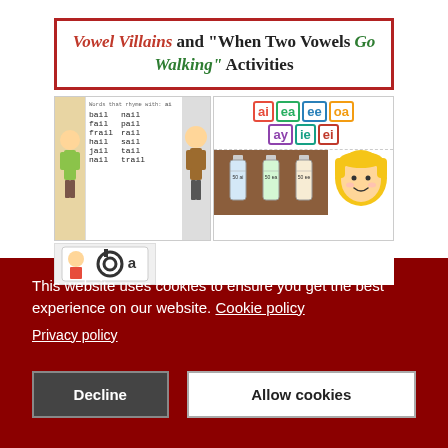[Figure (illustration): Educational product thumbnail showing 'Vowel Villains and When Two Vowels Go Walking Activities' with word lists, colorful vowel tiles (ai, ea, ee, oa, ay, ie, ei), cartoon characters, and activity worksheets.]
This website uses cookies to ensure you get the best experience on our website. Cookie policy
Privacy policy
Decline
Allow cookies